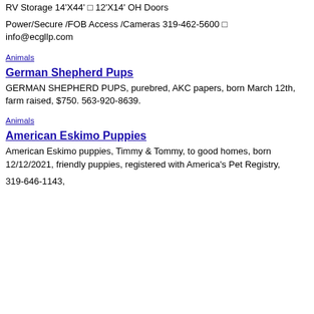RV Storage 14'X44' – 12'X14' OH Doors
Power/Secure /FOB Access /Cameras 319-462-5600 – info@ecgllp.com
Animals
German Shepherd Pups
GERMAN SHEPHERD PUPS, purebred, AKC papers, born March 12th, farm raised, $750. 563-920-8639.
Animals
American Eskimo Puppies
American Eskimo puppies, Timmy & Tommy, to good homes, born 12/12/2021, friendly puppies, registered with America's Pet Registry,
319-646-1143,